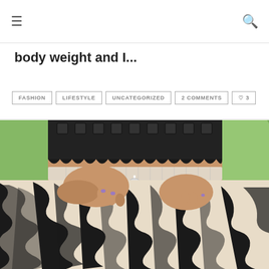≡ [menu icon] | [search icon]
body weight and I...
FASHION
LIFESTYLE
UNCATEGORIZED
2 COMMENTS
♡ 3
[Figure (photo): Close-up photo of a person wearing a black lace crop top and a zebra-print skirt with a drawstring waist, hands tucked into the skirt pockets, outdoor green background]